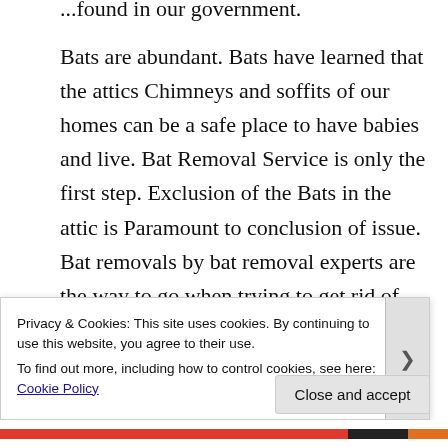...found in our government. Bats are abundant. Bats have learned that the attics Chimneys and soffits of our homes can be a safe place to have babies and live. Bat Removal Service is only the first step. Exclusion of the Bats in the attic is Paramount to conclusion of issue. Bat removals by bat removal experts are the way to go when trying to get rid of...
Privacy & Cookies: This site uses cookies. By continuing to use this website, you agree to their use.
To find out more, including how to control cookies, see here: Cookie Policy
Close and accept